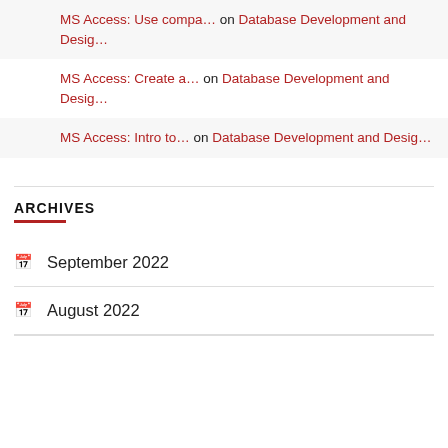MS Access: Use compa… on Database Development and Desig…
MS Access: Create a… on Database Development and Desig…
MS Access: Intro to… on Database Development and Desig…
ARCHIVES
September 2022
August 2022